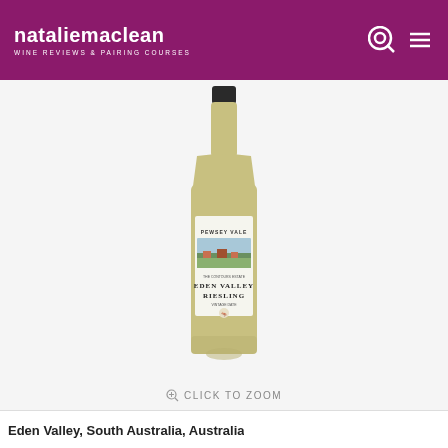nataliemaclean WINE REVIEWS & PAIRING COURSES
[Figure (photo): A bottle of Pewsey Vale Eden Valley Riesling white wine from South Australia, Australia, shown against a light grey background with a label depicting a pastoral landscape.]
CLICK TO ZOOM
Eden Valley, South Australia, Australia